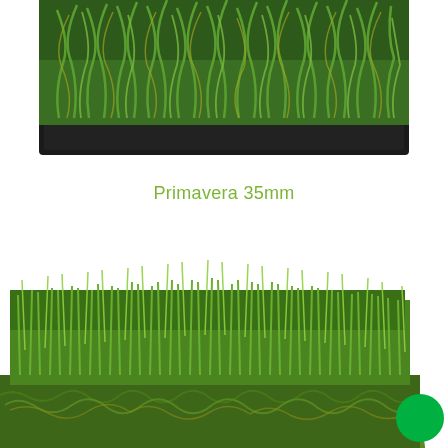[Figure (photo): Close-up side view of artificial grass product sample on black backing tray, showing curly green and yellow-tipped synthetic fibers from above]
Primavera 35mm
[Figure (photo): Front-facing close-up of artificial grass product sample showing dense upright green blades with curly base fibers, with a bright green circular color swatch in the bottom-right corner]